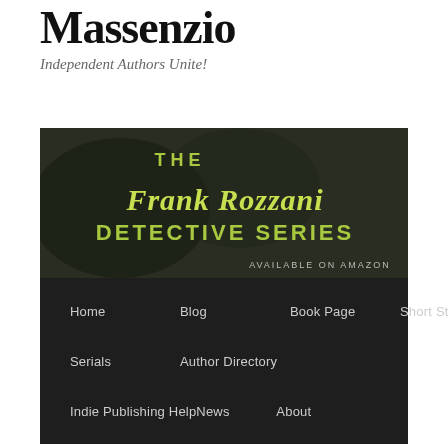Author Don Massenzio
Independent Authors Unite!
[Figure (illustration): Banner for The Frank Rozzani Detective Series, available on Amazon. Dark moody background with yellow-green text.]
Home
Blog
Book Page
Short Stories
Serials
Author Directory
Indie Publishing Help
News
About